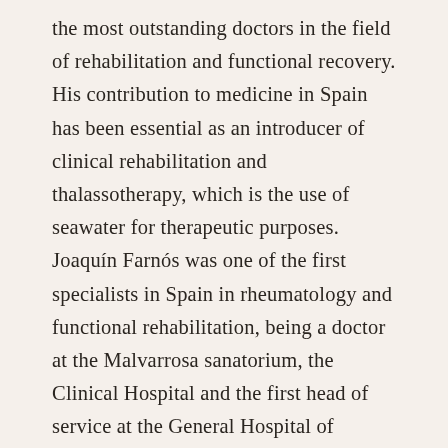the most outstanding doctors in the field of rehabilitation and functional recovery. His contribution to medicine in Spain has been essential as an introducer of clinical rehabilitation and thalassotherapy, which is the use of seawater for therapeutic purposes. Joaquín Farnós was one of the first specialists in Spain in rheumatology and functional rehabilitation, being a doctor at the Malvarrosa sanatorium, the Clinical Hospital and the first head of service at the General Hospital of Castelló. Internationally, he trained and worked at the Helio Marino Center in Colliure in France, the Lariboisere Hospital in Paris and the Nuffield Health Leeds Hospital rehabilitation center in the United